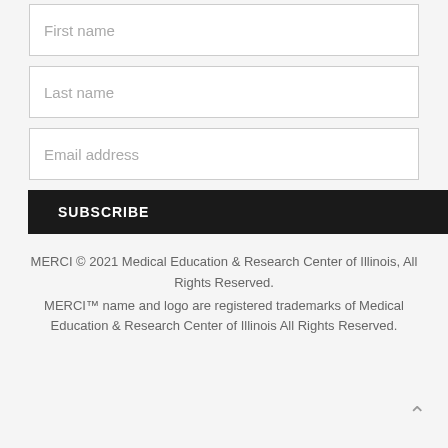First name
Last name
Email address
SUBSCRIBE
MERCI © 2021 Medical Education & Research Center of Illinois, All Rights Reserved. MERCI™ name and logo are registered trademarks of Medical Education & Research Center of Illinois All Rights Reserved.